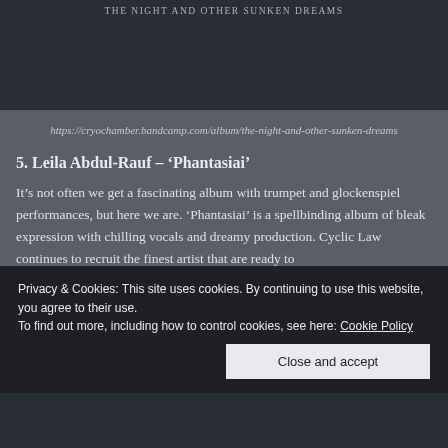[Figure (photo): Dark album cover image with text 'THE NIGHT AND OTHER SUNKEN DREAMS' at the top]
https://cryochamber.bandcamp.com/album/the-night-and-other-sunken-dreams
5. Leila Abdul-Rauf – ‘Phantasiai’
It’s not often we get a fascinating album with trumpet and glockenspiel performances, but here we are. ‘Phantasiai’ is a spellbinding album of bleak expression with chilling vocals and dreamy production. Cyclic Law continues to recruit the finest artist that are ready to
Privacy & Cookies: This site uses cookies. By continuing to use this website, you agree to their use.
To find out more, including how to control cookies, see here: Cookie Policy
Close and accept
[Figure (photo): Bottom dark image strip]